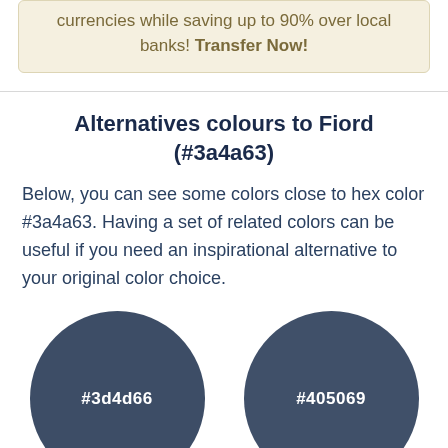currencies while saving up to 90% over local banks! Transfer Now!
Alternatives colours to Fiord (#3a4a63)
Below, you can see some colors close to hex color #3a4a63. Having a set of related colors can be useful if you need an inspirational alternative to your original color choice.
[Figure (illustration): Two large dark blue-grey circles side by side. Left circle labeled #3d4d66, right circle labeled #405069.]